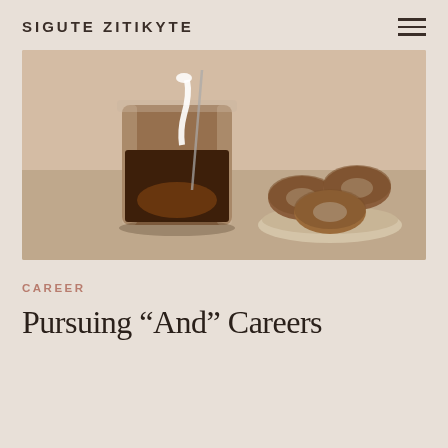SIGUTE ZITIKYTE
[Figure (photo): A glass of iced coffee with milk being poured in, and a plate of glazed donuts in the background, on a beige surface.]
CAREER
Pursuing “And” Careers